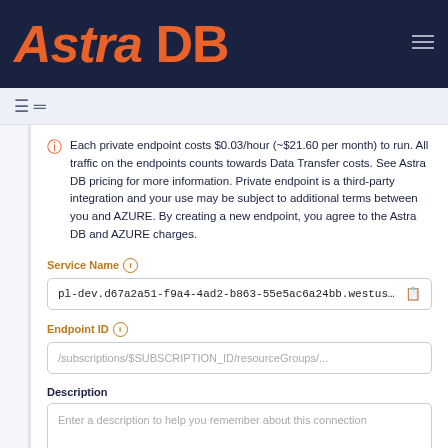[Figure (logo): Astra DB logo with orange italic text on dark navy background, with hamburger menu icon top right]
[Figure (screenshot): Navigation bar with list/menu icon]
Each private endpoint costs $0.03/hour (~$21.60 per month) to run. All traffic on the endpoints counts towards Data Transfer costs. See Astra DB pricing for more information. Private endpoint is a third-party integration and your use may be subject to additional terms between you and AZURE. By creating a new endpoint, you agree to the Astra DB and AZURE charges.
Service Name
pl-dev.d67a2a51-f9a4-4ad2-b863-55e5ac6a24bb.westus2.azure.priva
Endpoint ID
/subscriptions/$SUBSCRIPTION_ID/resourceGroups/...
Description
Enter a description to help you remember about this connection
Optional, but recommended.